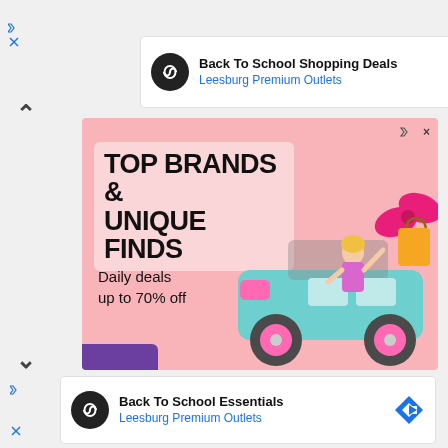[Figure (screenshot): Top advertisement banner: black circle logo with infinity-like symbol, text 'Back To School Shopping Deals' in bold and 'Leesburg Premium Outlets' in blue, blue diamond navigation arrow on right]
[Figure (screenshot): Main advertisement banner with pink background: 'TOP BRANDS & UNIQUE FINDS' in large bold black text, 'Daily deals up to 70% off' below, Barbie doll in blue toy jeep with pink bow and shopping bag on right side, purple bar at bottom left corner]
[Figure (screenshot): Bottom advertisement banner: black circle logo with infinity-like symbol, text 'Back To School Essentials' in bold and 'Leesburg Premium Outlets' in blue, blue diamond navigation arrow on right]